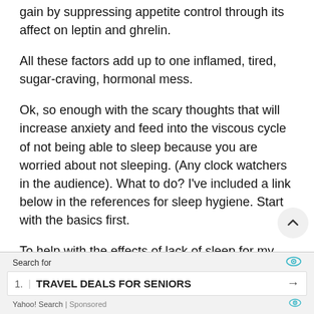gain by suppressing appetite control through its affect on leptin and ghrelin.
All these factors add up to one inflamed, tired, sugar-craving, hormonal mess.
Ok, so enough with the scary thoughts that will increase anxiety and feed into the viscous cycle of not being able to sleep because you are worried about not sleeping. (Any clock watchers in the audience). What to do? I've included a link below in the references for sleep hygiene. Start with the basics first.
To help with the effects of lack of sleep for my clients (and myself), I use a combination of calming,
Search for
1.  TRAVEL DEALS FOR SENIORS
Yahoo! Search | Sponsored